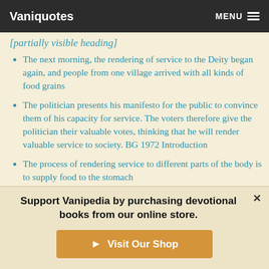Vaniquotes | MENU
The next morning, the rendering of service to the Deity began again, and people from one village arrived with all kinds of food grains
The politician presents his manifesto for the public to convince them of his capacity for service. The voters therefore give the politician their valuable votes, thinking that he will render valuable service to society. BG 1972 Introduction
The process of rendering service to different parts of the body is to supply food to the stomach
Support Vanipedia by purchasing devotional books from our online store.
Visit Our Shop